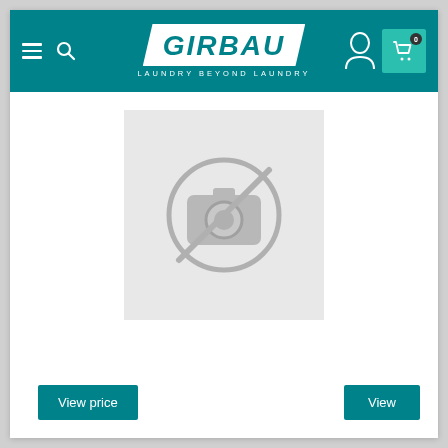GIRBAU — LAUNDRY BEYOND LAUNDRY
[Figure (photo): No-image placeholder: grey rectangle with a camera-with-slash icon in the center]
SC
132753
Ref. : 132753
View price
View